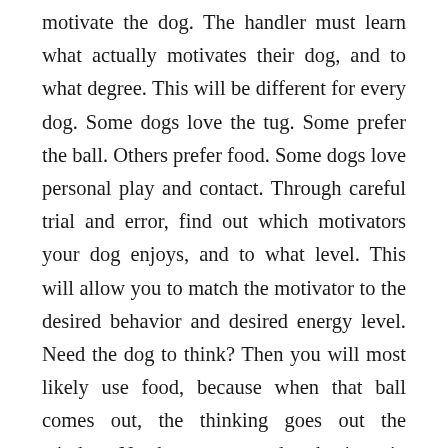motivate the dog. The handler must learn what actually motivates their dog, and to what degree. This will be different for every dog. Some dogs love the tug. Some prefer the ball. Others prefer food. Some dogs love personal play and contact. Through careful trial and error, find out which motivators your dog enjoys, and to what level. This will allow you to match the motivator to the desired behavior and desired energy level. Need the dog to think? Then you will most likely use food, because when that ball comes out, the thinking goes out the window. Need more pep and enthusiasm in an already-learned behavior? Then bring out the toy. Motivators change as the environment changes (increasing or decreasing in value), and even as the dog ages. Know your dog, and use what works